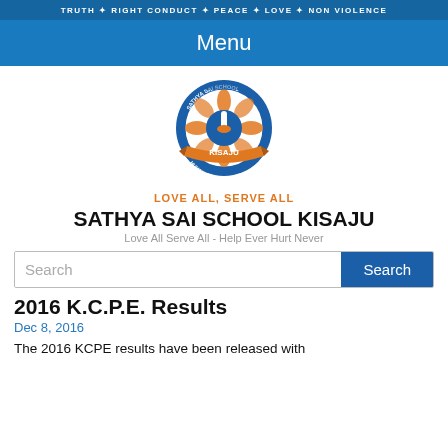TRUTH ✦ RIGHT CONDUCT ✦ PEACE ✦ LOVE ✦ NON VIOLENCE
Menu
[Figure (logo): Sathya Sai School Kisaju circular logo with blue and orange colors, depicting a lamp at center surrounded by a flower motif, with ribbon and text 'KISAJU' and 'HUMAN EXCELLENCE']
LOVE ALL, SERVE ALL
SATHYA SAI SCHOOL KISAJU
Love All Serve All - Help Ever Hurt Never
Search
2016 K.C.P.E. Results
Dec 8, 2016
The 2016 KCPE results have been released with